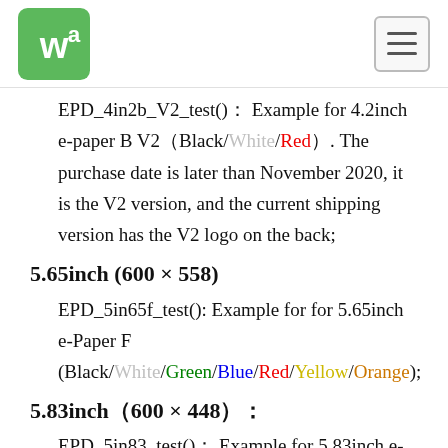Waveshare logo and navigation
EPD_4in2b_V2_test()：Example for 4.2inch e-paper B V2（Black/White/Red）. The purchase date is later than November 2020, it is the V2 version, and the current shipping version has the V2 logo on the back;
5.65inch (600 × 558)
EPD_5in65f_test(): Example for for 5.65inch e-Paper F (Black/White/Green/Blue/Red/Yellow/Orange);
5.83inch（600 × 448）：
EPD_5in83_test()： Example for 5.83inch e-